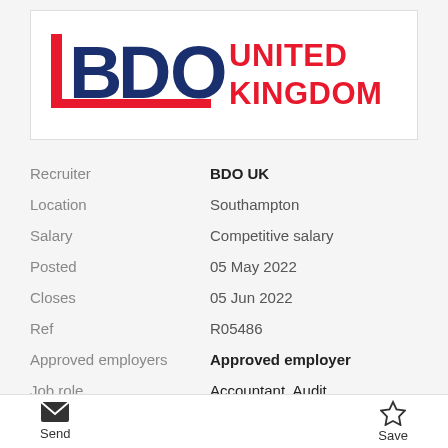[Figure (logo): BDO United Kingdom logo — bold dark blue BDO letters with a red vertical bar on left and red underline, and 'UNITED KINGDOM' in red bold text to the right]
| Field | Value |
| --- | --- |
| Recruiter | BDO UK |
| Location | Southampton |
| Salary | Competitive salary |
| Posted | 05 May 2022 |
| Closes | 05 Jun 2022 |
| Ref | R05486 |
| Approved employers | Approved employer |
| Job role | Accountant, Audit |
| Sector | Accounting - Public |
Send   Save